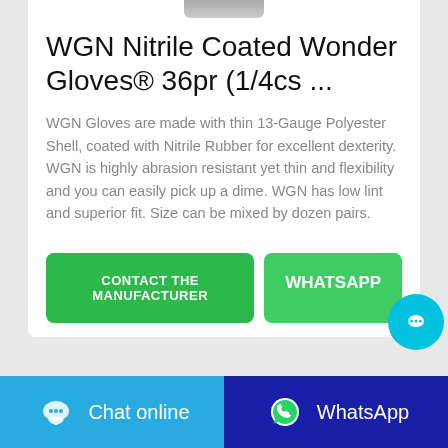[Figure (photo): Partial product image at top of card, showing bottom portion of gloves product]
WGN Nitrile Coated Wonder Gloves® 36pr (1/4cs ...
WGN Gloves are made with thin 13-Gauge Polyester Shell, coated with Nitrile Rubber for excellent dexterity. WGN is highly abrasion resistant yet thin and flexibility and you can easily pick up a dime. WGN has low lint and superior fit. Size can be mixed by dozen pairs.
CONTACT THE MANUFACTURER
WHATSAPP
Chat online
WhatsApp